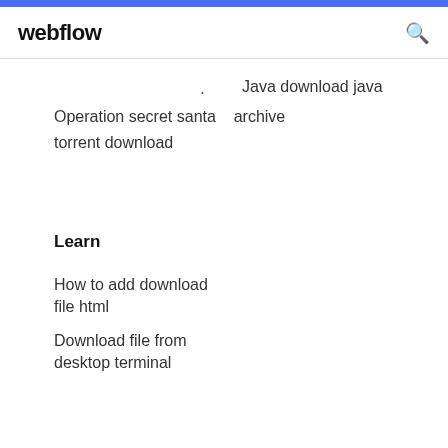webflow
. Java download java archive
Operation secret santa archive
torrent download
Learn
How to add download file html
Download file from desktop terminal